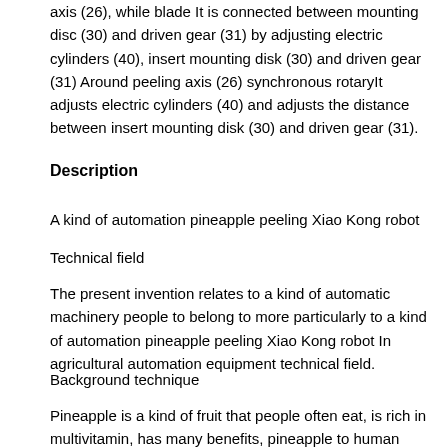axis (26), while blade It is connected between mounting disc (30) and driven gear (31) by adjusting electric cylinders (40), insert mounting disk (30) and driven gear (31) Around peeling axis (26) synchronous rotary​It adjusts electric cylinders (40) and adjusts the distance between insert mounting disk (30) and driven gear (31).
Description
A kind of automation pineapple peeling Xiao Kong robot
Technical field
The present invention relates to a kind of automatic machinery people to belong to more particularly to a kind of automation pineapple peeling Xiao Kong robot In agricultural automation equipment technical field.
Background technique
Pineapple is a kind of fruit that people often eat, is rich in multivitamin, has many benefits, pineapple to human body Through appearing in each hypermarket frequently as